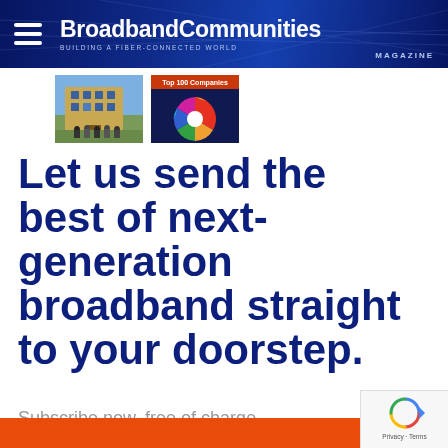BroadbandCommunities MAGAZINE — BUILDING A FIBER-CONNECTED WORLD
[Figure (screenshot): Two thumbnail images: left shows people outside a building, right shows a colorful Top 100 Companies wheel/chart]
Let us send the best of next-generation broadband straight to your doorstep.
Subscribe now, free of charge
[Figure (other): Orange CTA button at the bottom (partially visible), and a reCAPTCHA badge in the bottom-right corner with Privacy · Terms text]